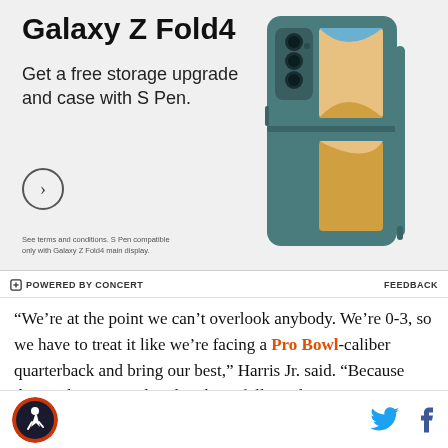[Figure (illustration): Samsung Galaxy Z Fold4 advertisement. Shows title 'Galaxy Z Fold4', text 'Get a free storage upgrade and case with S Pen.', a circle arrow button, fine print about terms and S Pen compatibility, and an image of the phone with case and S Pen on the right side.]
POWERED BY CONCERT
FEEDBACK
“We’re at the point we can’t overlook anybody. We’re 0-3, so we have to treat it like we’re facing a Pro Bowl-caliber quarterback and bring our best,” Harris Jr. said. “Because that’s what we need to do, play a full good game as a team.”
[Figure (logo): Site logo: circular badge with sports team branding]